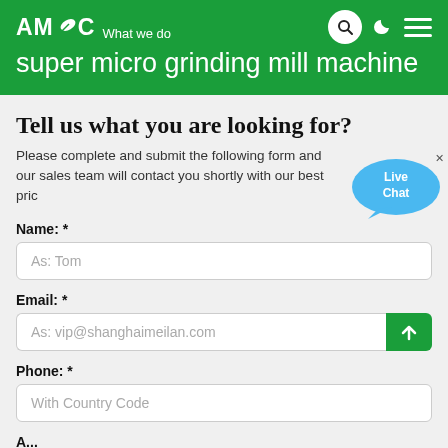AMC What we do
super micro grinding mill machine
Tell us what you are looking for?
Please complete and submit the following form and our sales team will contact you shortly with our best price.
Name: *
As: Tom
Email: *
As: vip@shanghaimeilan.com
Phone: *
With Country Code